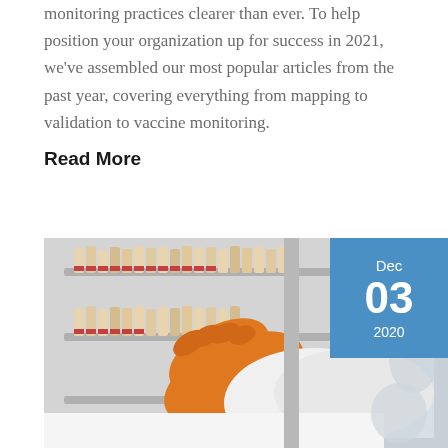monitoring practices clearer than ever. To help position your organization up for success in 2021, we've assembled our most popular articles from the past year, covering everything from mapping to validation to vaccine monitoring.
Read More
[Figure (photo): A person wearing orange gloves and a white lab coat reaching into a freezer filled with labeled sample vials and test tubes. Date badge overlay shows Dec 03 2020.]